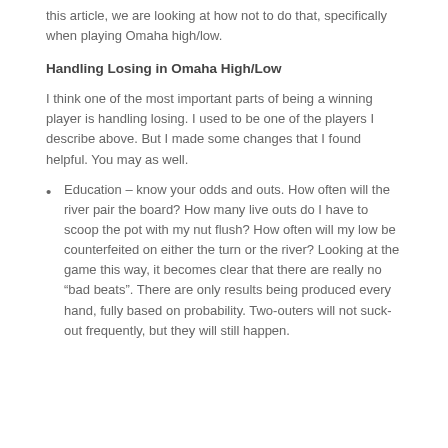this article, we are looking at how not to do that, specifically when playing Omaha high/low.
Handling Losing in Omaha High/Low
I think one of the most important parts of being a winning player is handling losing. I used to be one of the players I describe above. But I made some changes that I found helpful. You may as well.
Education – know your odds and outs. How often will the river pair the board? How many live outs do I have to scoop the pot with my nut flush? How often will my low be counterfeited on either the turn or the river? Looking at the game this way, it becomes clear that there are really no “bad beats”. There are only results being produced every hand, fully based on probability. Two-outers will not suck-out frequently, but they will still happen.